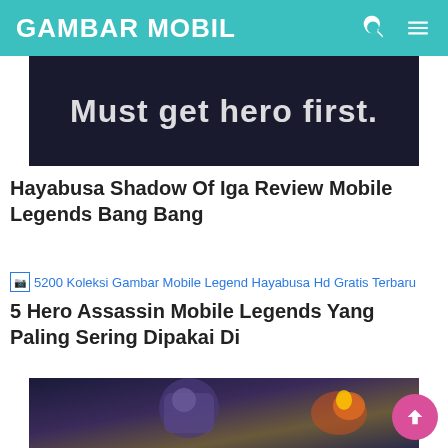GAMBAR MOBIL
[Figure (screenshot): Dark screenshot with white bold text reading 'Must get hero first.']
Hayabusa Shadow Of Iga Review Mobile Legends Bang Bang
[Figure (illustration): Broken image placeholder link: '5200 Koleksi Gambar Mobile Legend Hayabusa Hd Gratis Terbaru']
5 Hero Assassin Mobile Legends Yang Paling Sering Dipakai Di
[Figure (illustration): Mobile Legends character in blue robotic armor holding a gun, with fire and explosion effects in the background]